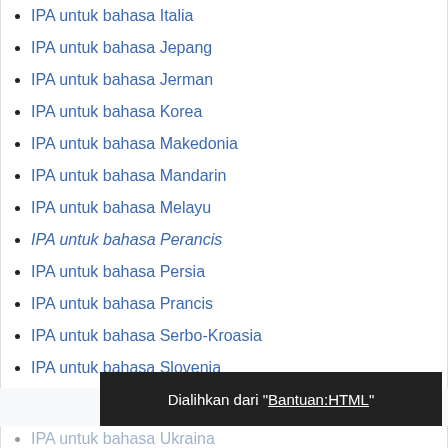IPA untuk bahasa Italia
IPA untuk bahasa Jepang
IPA untuk bahasa Jerman
IPA untuk bahasa Korea
IPA untuk bahasa Makedonia
IPA untuk bahasa Mandarin
IPA untuk bahasa Melayu
IPA untuk bahasa Perancis (italic)
IPA untuk bahasa Persia
IPA untuk bahasa Prancis
IPA untuk bahasa Serbo-Kroasia
IPA untuk bahasa Slovenia
IPA untuk bahasa Spanyol
Dialihkan dari "Bantuan:HTML"
IPA untuk bahasa Ukraina